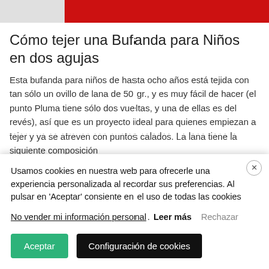[Figure (photo): Top portion of a red knitted fabric texture, partially cropped at the top of the page]
Cómo tejer una Bufanda para Niños en dos agujas
Esta bufanda para niños de hasta ocho años está tejida con tan sólo un ovillo de lana de 50 gr., y es muy fácil de hacer (el punto Pluma tiene sólo dos vueltas, y una de ellas es del revés), así que es un proyecto ideal para quienes empiezan a tejer y ya se atreven con puntos calados. La lana tiene la siguiente composición
Usamos cookies en nuestra web para ofrecerle una experiencia personalizada al recordar sus preferencias. Al pulsar en 'Aceptar' consiente en el uso de todas las cookies
No vender mi información personal. Leer más Rechazar
Aceptar Configuración de cookies